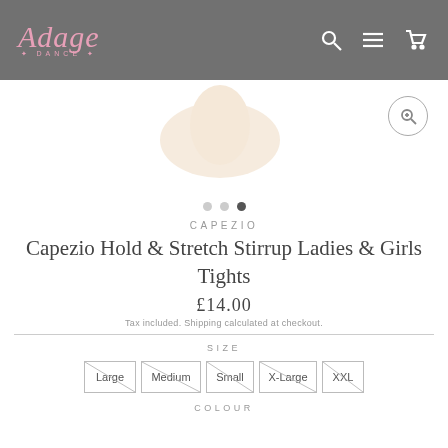[Figure (logo): Adage Dance logo in pink cursive script on grey background with navigation icons]
[Figure (photo): Partial product image showing a beige/flesh-colored stirrup tight foot area on white background with zoom button]
CAPEZIO
Capezio Hold & Stretch Stirrup Ladies & Girls Tights
£14.00
Tax included. Shipping calculated at checkout.
SIZE
Large
Medium
Small
X-Large
XXL
COLOUR